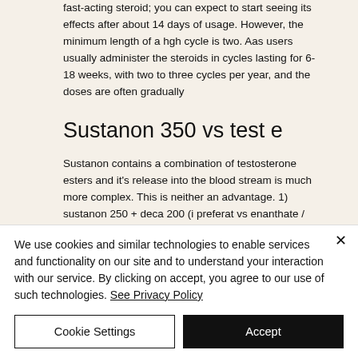fast-acting steroid; you can expect to start seeing its effects after about 14 days of usage. However, the minimum length of a hgh cycle is two. Aas users usually administer the steroids in cycles lasting for 6-18 weeks, with two to three cycles per year, and the doses are often gradually
Sustanon 350 vs test e
Sustanon contains a combination of testosterone esters and it's release into the blood stream is much more complex. This is neither an advantage. 1) sustanon 250 + deca 200 (i preferat vs enanthate /
We use cookies and similar technologies to enable services and functionality on our site and to understand your interaction with our service. By clicking on accept, you agree to our use of such technologies. See Privacy Policy
Cookie Settings
Accept